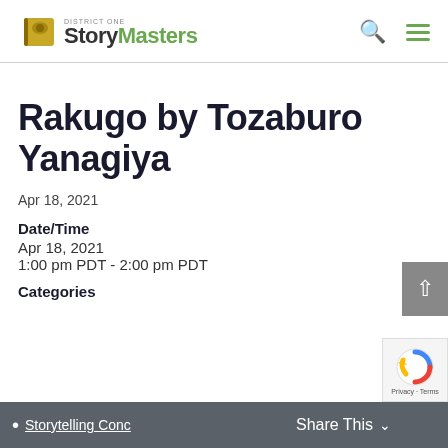StoryMasters
Rakugo by Tozaburo Yanagiya
Apr 18, 2021
Date/Time
Apr 18, 2021
1:00 pm PDT - 2:00 pm PDT
Categories
Storytelling Conce…